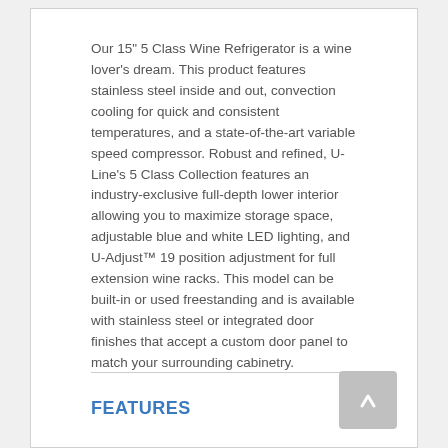Our 15" 5 Class Wine Refrigerator is a wine lover's dream. This product features stainless steel inside and out, convection cooling for quick and consistent temperatures, and a state-of-the-art variable speed compressor. Robust and refined, U-Line's 5 Class Collection features an industry-exclusive full-depth lower interior allowing you to maximize storage space, adjustable blue and white LED lighting, and U-Adjust™ 19 position adjustment for full extension wine racks. This model can be built-in or used freestanding and is available with stainless steel or integrated door finishes that accept a custom door panel to match your surrounding cabinetry.
FEATURES